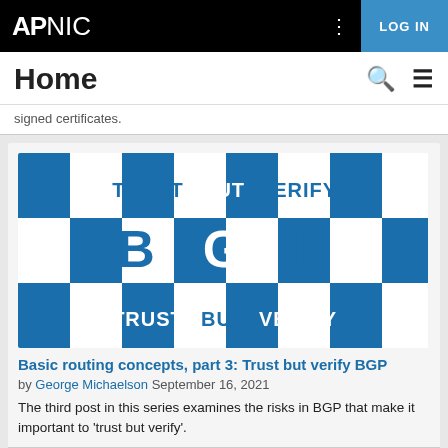APNIC  LOG IN
Home
signed certificates.
[Figure (illustration): Blue and white checkerboard pattern with 'TRUST BUT VERIFY' text at top and bottom rows, and large 'BGP' letters in the center row, in blue and white.]
Basic routing concepts, part 3: Trust but verify BGP
by George Michaelson September 16, 2021
The third post in this series examines the risks in BGP that make it important to 'trust but verify'.